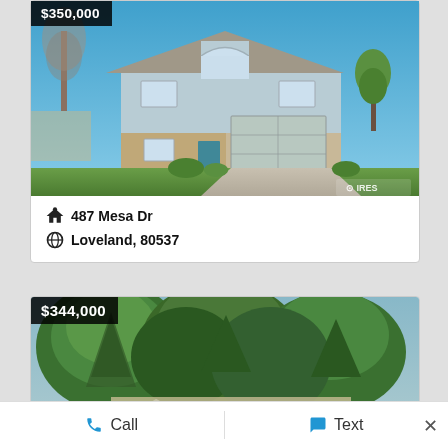[Figure (photo): Exterior photo of a two-story light blue house with brick accents, garage, and large trees, price badge showing $350,000 (partially cut off at top)]
487 Mesa Dr
Loveland, 80537
[Figure (photo): Exterior photo of a house heavily shaded by large green conifer trees, price badge showing $344,000]
Call   Text   ×